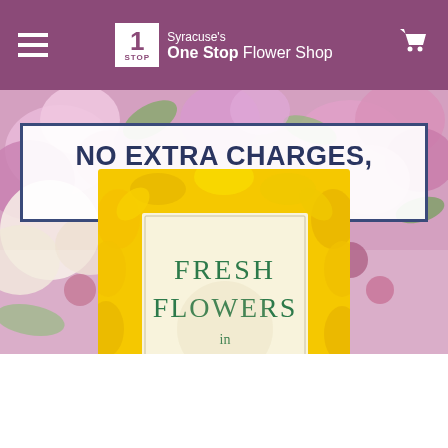Syracuse's One Stop Flower Shop
NO EXTRA CHARGES, NO HIDDEN FEES!
[Figure (photo): Yellow sunflower bouquet product photo with inner card reading 'Fresh Flowers in Sunny Yellows']
Designer's Choice Seasonal Bouquet: Yellow
To $89.95
Earliest Delivery
Tomorrow